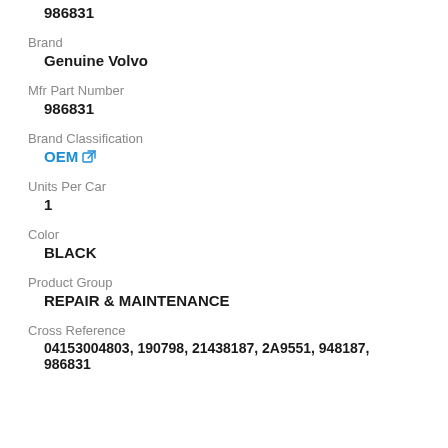986831
Brand
Genuine Volvo
Mfr Part Number
986831
Brand Classification
OEM
Units Per Car
1
Color
BLACK
Product Group
REPAIR & MAINTENANCE
Cross Reference
04153004803, 190798, 21438187, 2A9551, 948187, 986831